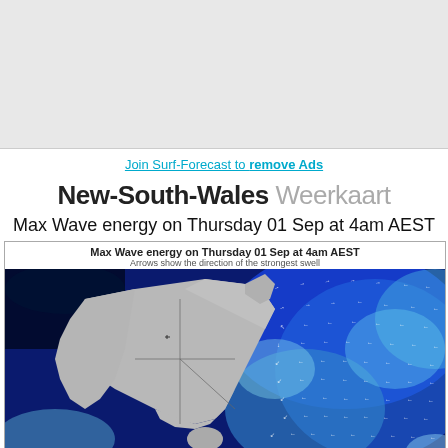Join Surf-Forecast to remove Ads
New-South-Wales Weerkaart
Max Wave energy on Thursday 01 Sep at 4am AEST
[Figure (map): Weather map showing Max Wave energy around Australia (New South Wales region) on Thursday 01 Sep at 4am AEST. The map shows Australia in gray with surrounding ocean areas colored in blue gradients indicating wave energy. Small white arrows show the direction of the strongest swell, concentrated in the Pacific Ocean to the east and northeast of Australia.]